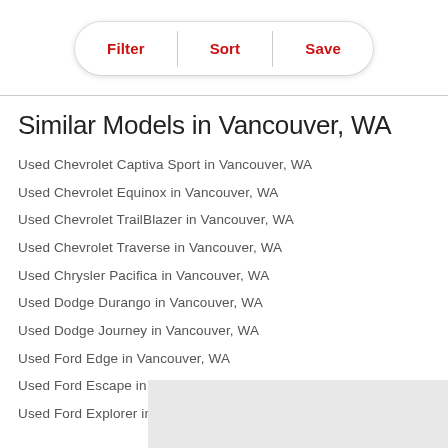[Figure (screenshot): Toolbar with Filter, Sort, Save buttons in a pill/rounded rectangle shape with red text]
Similar Models in Vancouver, WA
Used Chevrolet Captiva Sport in Vancouver, WA
Used Chevrolet Equinox in Vancouver, WA
Used Chevrolet TrailBlazer in Vancouver, WA
Used Chevrolet Traverse in Vancouver, WA
Used Chrysler Pacifica in Vancouver, WA
Used Dodge Durango in Vancouver, WA
Used Dodge Journey in Vancouver, WA
Used Ford Edge in Vancouver, WA
Used Ford Escape in Vancouver, WA
Used Ford Explorer in Vancouver, WA